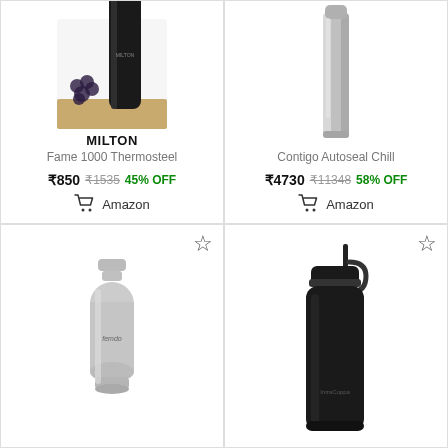[Figure (photo): Milton black thermosteel bottle with grapes on wooden surface]
MILTON
Fame 1000 Thermosteel
₹850  ₹1535  45% OFF
Amazon
[Figure (photo): Silver slim thermosteel bottle on white background]
Contigo Autoseal Chill
₹4730  ₹11348  58% OFF
Amazon
[Figure (photo): Silver barrel-shaped Femdo insulated bottle]
[Figure (photo): Black IntraCup water bottle with straw lid]